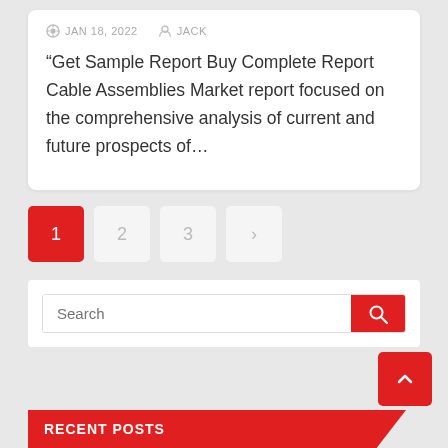JAN 18, 2022   JACK
“Get Sample Report Buy Complete Report Cable Assemblies Market report focused on the comprehensive analysis of current and future prospects of…
Pagination: 1 2 3 >
Search
RECENT POSTS